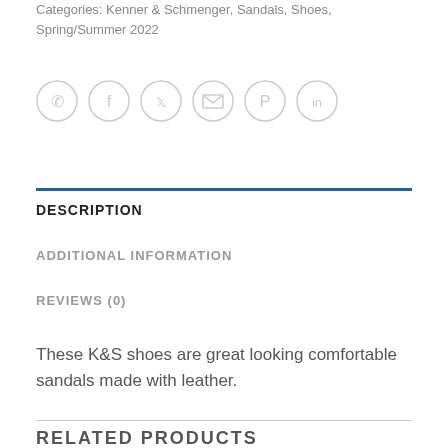Categories: Kenner & Schmenger, Sandals, Shoes, Spring/Summer 2022
[Figure (other): Row of 6 social share icon buttons: WhatsApp, Facebook, Twitter, Email, Pinterest, LinkedIn — all light grey outlined circles]
DESCRIPTION
ADDITIONAL INFORMATION
REVIEWS (0)
These K&S shoes are great looking comfortable sandals made with leather.
RELATED PRODUCTS